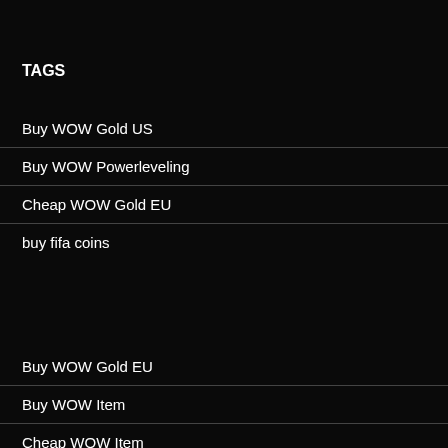TAGS
Buy WOW Gold US
Buy WOW Powerleveling
Cheap WOW Gold EU
buy fifa coins
Buy WOW Gold EU
Buy WOW Item
Cheap WOW Item